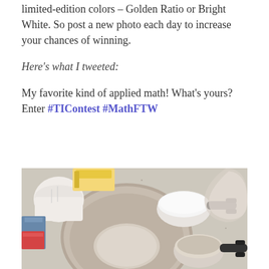limited-edition colors – Golden Ratio or Bright White. So post a new photo each day to increase your chances of winning.
Here's what I tweeted:
My favorite kind of applied math! What's yours? Enter #TIContest #MathFTW
[Figure (photo): Overhead view of kitchen counter with a large mixing bowl containing a small amount of flour/grain, two measuring cups (one filled with white powder, one with oats/grain), a container, butter box, and other items on a speckled countertop.]